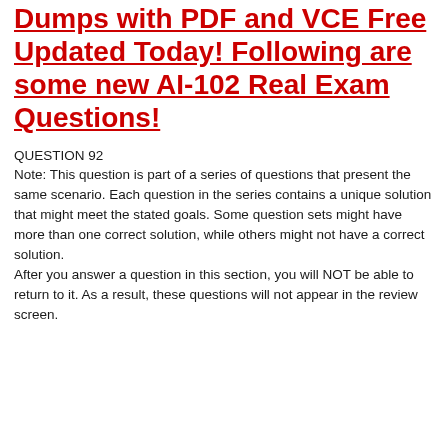Dumps with PDF and VCE Free Updated Today! Following are some new AI-102 Real Exam Questions!
QUESTION 92
Note: This question is part of a series of questions that present the same scenario. Each question in the series contains a unique solution that might meet the stated goals. Some question sets might have more than one correct solution, while others might not have a correct solution.
After you answer a question in this section, you will NOT be able to return to it. As a result, these questions will not appear in the review screen.